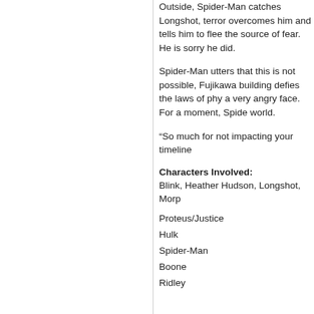Outside, Spider-Man catches Longshot, terror overcomes him and tells him to flee the source of fear. He is sorry he did.
Spider-Man utters that this is not possible, Fujikawa building defies the laws of physics, a very angry face. For a moment, Spider-Man world.
“So much for not impacting your timeline”
Characters Involved:
Blink, Heather Hudson, Longshot, Morp
Proteus/Justice
Hulk
Spider-Man
Boone
Ridley